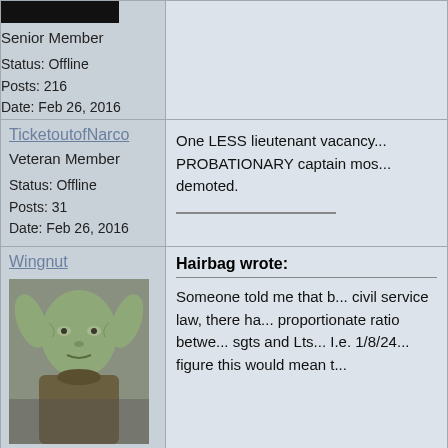Senior Member
Status: Offline
Posts: 216
Date: Feb 26, 2016
TicketoutofNarco
Veteran Member
Status: Offline
Posts: 31
Date: Feb 26, 2016
One LESS lieutenant vacancy... PROBATIONARY captain most demoted.
Wingnut
[Figure (photo): Photo of Yoda character from Star Wars]
Hairbag wrote:
Someone told me that by civil service law, there has proportionate ratio between sgts and Lts... I.e. 1/8/24... figure this would mean t...